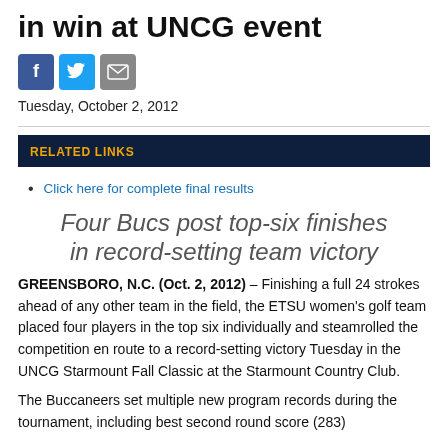in win at UNCG event
[Figure (infographic): Social media sharing icons: Facebook (blue), Twitter (light blue), Email (gray)]
Tuesday, October 2, 2012
RELATED LINKS
Click here for complete final results
Four Bucs post top-six finishes in record-setting team victory
GREENSBORO, N.C. (Oct. 2, 2012) – Finishing a full 24 strokes ahead of any other team in the field, the ETSU women's golf team placed four players in the top six individually and steamrolled the competition en route to a record-setting victory Tuesday in the UNCG Starmount Fall Classic at the Starmount Country Club.
The Buccaneers set multiple new program records during the tournament, including best second round score (283)